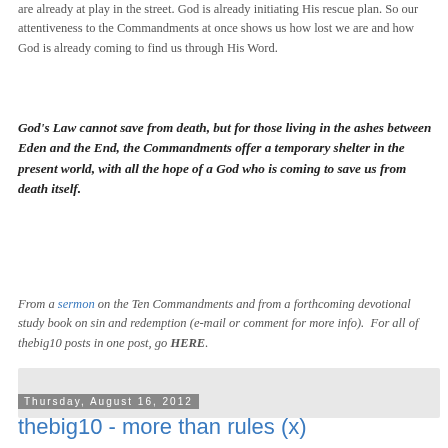are already at play in the street. God is already initiating His rescue plan. So our attentiveness to the Commandments at once shows us how lost we are and how God is already coming to find us through His Word.
God's Law cannot save from death, but for those living in the ashes between Eden and the End, the Commandments offer a temporary shelter in the present world, with all the hope of a God who is coming to save us from death itself.
From a sermon on the Ten Commandments and from a forthcoming devotional study book on sin and redemption (e-mail or comment for more info).  For all of thebig10 posts in one post, go HERE.
[Figure (other): Gray rectangular box, likely an advertisement or placeholder widget]
Thursday, August 16, 2012
thebig10 - more than rules (x)